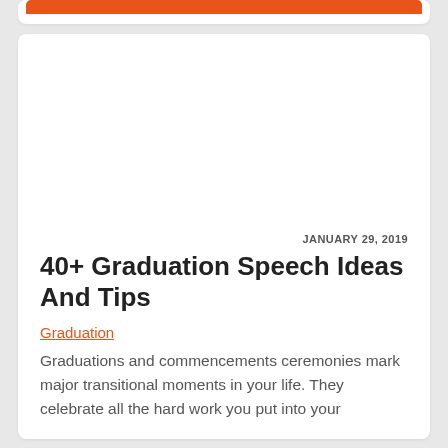[Figure (other): Orange bar at top of card, partial view of top card element]
JANUARY 29, 2019
40+ Graduation Speech Ideas And Tips
Graduation
Graduations and commencements ceremonies mark major transitional moments in your life. They celebrate all the hard work you put into your